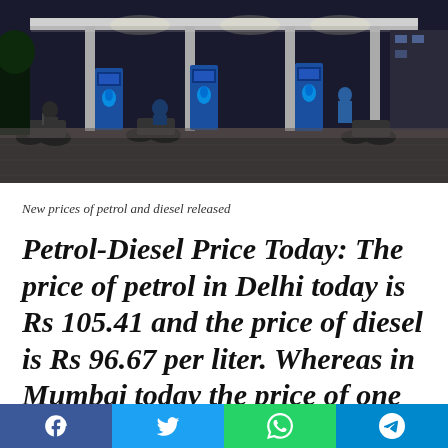[Figure (photo): Night-time photo of an Indian petrol station (likely BPCL/HPCL) with blue pump dispensers, motorcycles being fuelled, and illuminated canopy.]
New prices of petrol and diesel released
Petrol-Diesel Price Today: The price of petrol in Delhi today is Rs 105.41 and the price of diesel is Rs 96.67 per liter. Whereas in Mumbai today the price of one
[Figure (infographic): Social sharing bar at the bottom with Facebook (blue), Twitter (light blue), WhatsApp (green), and Telegram (cyan) buttons.]